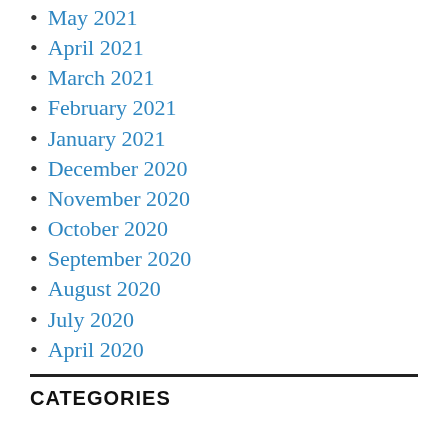May 2021
April 2021
March 2021
February 2021
January 2021
December 2020
November 2020
October 2020
September 2020
August 2020
July 2020
April 2020
CATEGORIES